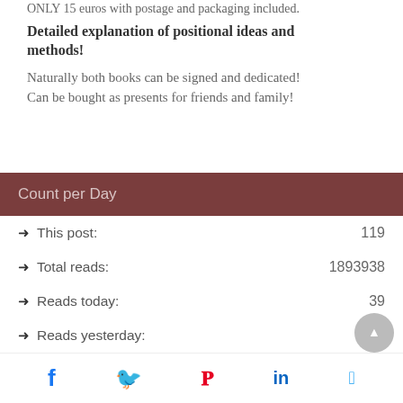ONLY 15 euros with postage and packaging included.
Detailed explanation of positional ideas and methods!
Naturally both books can be signed and dedicated! Can be bought as presents for friends and family!
Count per Day
This post: 119
Total reads: 1893938
Reads today: 39
Reads yesterday: 541